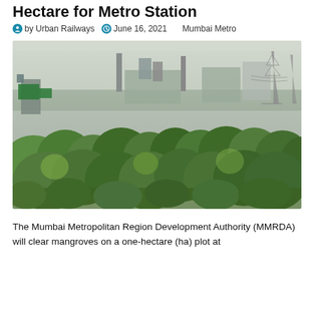Hectare for Metro Station
by Urban Railways   June 16, 2021   Mumbai Metro
[Figure (photo): Aerial view of a green mangrove/tree canopy area with industrial structures and power transmission towers visible in the background, hazy sky.]
The Mumbai Metropolitan Region Development Authority (MMRDA) will clear mangroves on a one-hectare (ha) plot at